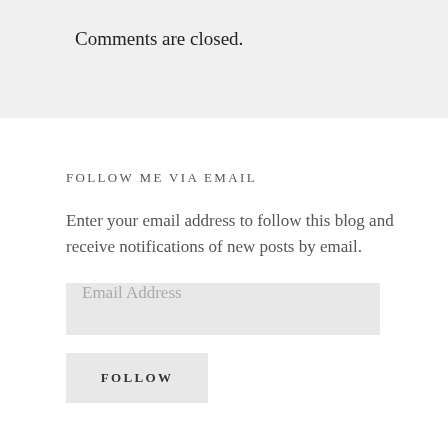Comments are closed.
FOLLOW ME VIA EMAIL
Enter your email address to follow this blog and receive notifications of new posts by email.
Email Address
FOLLOW